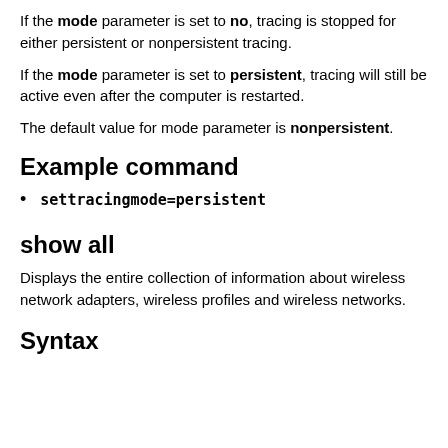If the mode parameter is set to no, tracing is stopped for either persistent or nonpersistent tracing.
If the mode parameter is set to persistent, tracing will still be active even after the computer is restarted.
The default value for mode parameter is nonpersistent.
Example command
settracingmode=persistent
show all
Displays the entire collection of information about wireless network adapters, wireless profiles and wireless networks.
Syntax